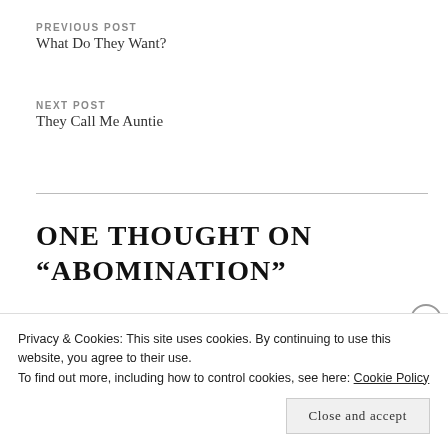PREVIOUS POST
What Do They Want?
NEXT POST
They Call Me Auntie
ONE THOUGHT ON “ABOMINATION”
justacowboyforchrist says:
Privacy & Cookies: This site uses cookies. By continuing to use this website, you agree to their use.
To find out more, including how to control cookies, see here: Cookie Policy